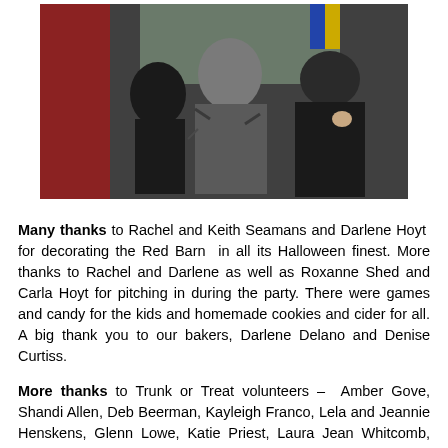[Figure (photo): Three people in Halloween costumes standing in front of a red barn. One person wears a dark helmet/mask reminiscent of a sci-fi villain, the center person wears a mummy or zombie-like costume with a face mask and shredded grey wrappings, and the right person wears a plain black robe/cloak.]
Many thanks to Rachel and Keith Seamans and Darlene Hoyt for decorating the Red Barn in all its Halloween finest. More thanks to Rachel and Darlene as well as Roxanne Shed and Carla Hoyt for pitching in during the party. There were games and candy for the kids and homemade cookies and cider for all. A big thank you to our bakers, Darlene Delano and Denise Curtiss.
More thanks to Trunk or Treat volunteers – Amber Gove, Shandi Allen, Deb Beerman, Kayleigh Franco, Lela and Jeannie Henskens, Glenn Lowe, Katie Priest, Laura Jean Whitcomb, Gayle Fleming and Adam Glass. It was great